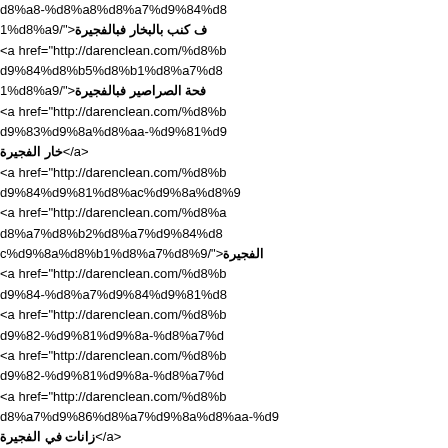d8%a8-%d8%a8%d8%a7%d9%84%d8... 1%d8%a9/">ف كنب بالبخار فبالفجيرة <a href="http://darenclean.com/%d8%b... d9%84%d8%b5%d8%b1%d8%a7%d8... 1%d8%a9/">فحة الصراصير فبالفجيرة <a href="http://darenclean.com/%d8%b... d9%83%d9%8a%d8%aa-%d9%81%d9... خار الفجيرة</a> <a href="http://darenclean.com/%d8%b... d9%84%d9%81%d8%ac%d9%8a%d8%9... <a href="http://darenclean.com/%d8%a... d8%a7%d8%b2%d8%a7%d9%84%d8... c%d9%8a%d8%b1%d8%a7%d8%9/">الفجيرة <a href="http://darenclean.com/%d8%b... d9%84-%d8%a7%d9%84%d9%81%d8... <a href="http://darenclean.com/%d8%b... d9%82-%d9%81%d9%8a-%d8%a7%d... <a href="http://darenclean.com/%d8%b... d9%82-%d9%81%d9%8a-%d8%a7%d... <a href="http://darenclean.com/%d8%b... d8%a7%d9%86%d8%a7%d9%8a%d8%aa-%d9... زانات في الفجيرة</a> <a href="http://darenclean.com/%d8%b...